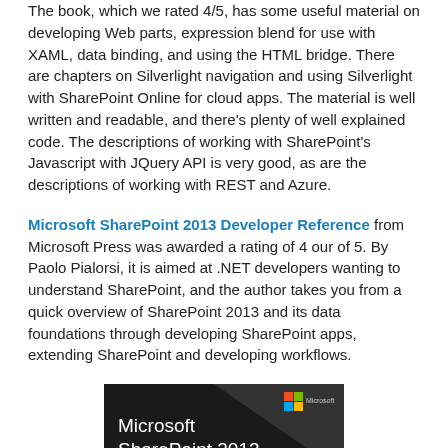The book, which we rated 4/5, has some useful material on developing Web parts, expression blend for use with XAML, data binding, and using the HTML bridge. There are chapters on Silverlight navigation and using Silverlight with SharePoint Online for cloud apps. The material is well written and readable, and there's plenty of well explained code. The descriptions of working with SharePoint's Javascript with JQuery API is very good, as are the descriptions of working with REST and Azure.
Microsoft SharePoint 2013 Developer Reference from Microsoft Press was awarded a rating of 4 our of 5. By Paolo Pialorsi, it is aimed at .NET developers wanting to understand SharePoint, and the author takes you from a quick overview of SharePoint 2013 and its data foundations through developing SharePoint apps, extending SharePoint and developing workflows.
[Figure (illustration): Book cover of Microsoft SharePoint 2013 Developer Reference, dark background with white text and Microsoft logo, featuring a red dragon at the bottom]